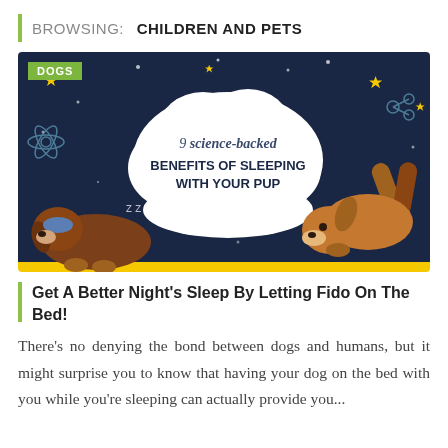BROWSING: CHILDREN AND PETS
[Figure (illustration): Infographic thumbnail showing two illustrated dogs on a dark blue starry night background with a cloud shape containing the text '9 science-backed BENEFITS OF SLEEPING WITH YOUR PUP'. A green 'DOGS' badge in the top left corner. Yellow bar at the bottom.]
Get A Better Night's Sleep By Letting Fido On The Bed!
There's no denying the bond between dogs and humans, but it might surprise you to know that having your dog on the bed with you while you're sleeping can actually provide you...